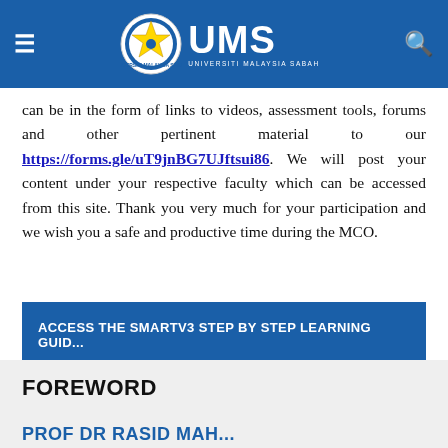UMS — Universiti Malaysia Sabah
can be in the form of links to videos, assessment tools, forums and other pertinent material to our https://forms.gle/uT9jnBG7UJftsui86. We will post your content under your respective faculty which can be accessed from this site. Thank you very much for your participation and we wish you a safe and productive time during the MCO.
ACCESS THE SMARTV3 STEP BY STEP LEARNING GUID...
FOREWORD
PROF DR RASID MAH...